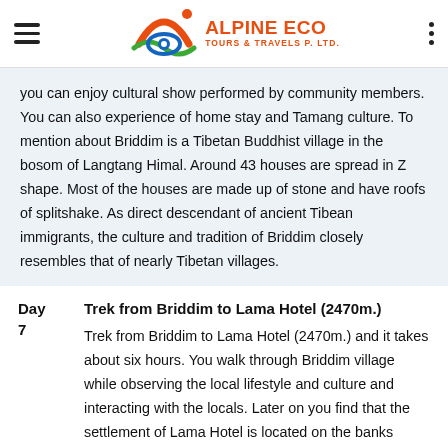Alpine Eco Tours & Travels P. Ltd.
you can enjoy cultural show performed by community members. You can also experience of home stay and Tamang culture. To mention about Briddim is a Tibetan Buddhist village in the bosom of Langtang Himal. Around 43 houses are spread in Z shape. Most of the houses are made up of stone and have roofs of splitshake. As direct descendant of ancient Tibean immigrants, the culture and tradition of Briddim closely resembles that of nearly Tibetan villages.
Day 7 Trek from Briddim to Lama Hotel (2470m.)
Trek from Briddim to Lama Hotel (2470m.) and it takes about six hours. You walk through Briddim village while observing the local lifestyle and culture and interacting with the locals. Later on you find that the settlement of Lama Hotel is located on the banks